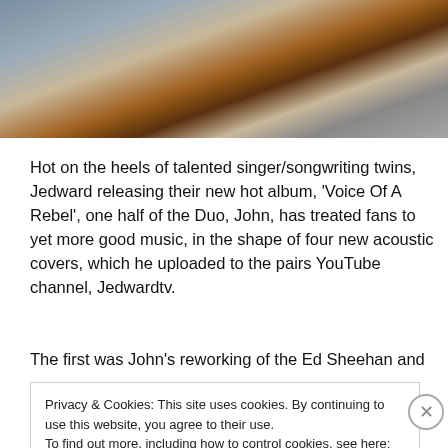[Figure (photo): Person playing an acoustic guitar, hands visible on the fretboard and body of the guitar, wearing a blue jacket]
Hot on the heels of talented singer/songwriting twins, Jedward releasing their new hot album, 'Voice Of A Rebel', one half of the Duo, John, has treated fans to yet more good music, in the shape of four new acoustic covers, which he uploaded to the pairs YouTube channel, Jedwardtv.
The first was John's reworking of the Ed Sheehan and
Privacy & Cookies: This site uses cookies. By continuing to use this website, you agree to their use.
To find out more, including how to control cookies, see here: Cookie Policy